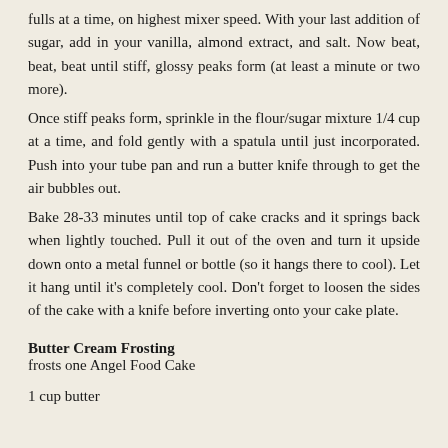fulls at a time, on highest mixer speed.  With your last addition of sugar, add in your vanilla, almond extract, and salt.  Now beat, beat, beat until stiff, glossy peaks form (at least a minute or two more).
Once stiff peaks form, sprinkle in the flour/sugar mixture 1/4 cup at a time, and fold gently with a spatula until just incorporated.  Push into your tube pan and run a butter knife through to get the air bubbles out.
Bake 28-33 minutes until top of cake cracks and it springs back when lightly touched.  Pull it out of the oven and turn it upside down onto a metal funnel or bottle (so it hangs there to cool).  Let it hang until it's completely cool.  Don't forget to loosen the sides of the cake with a knife before inverting onto your cake plate.
Butter Cream Frosting
frosts one Angel Food Cake
1 cup butter